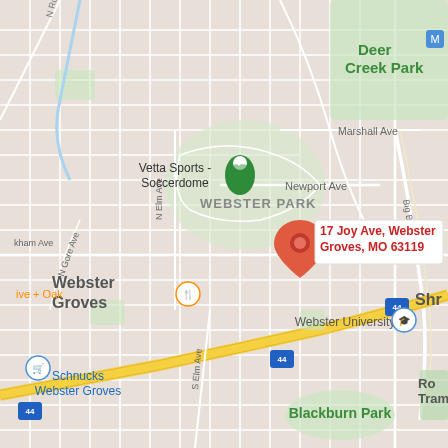[Figure (map): Google Maps view of Webster Groves, MO area showing streets, parks, and landmarks. A red location pin marks '17 Joy Ave, Webster Groves, MO 63119' in the center. Nearby landmarks include Vetta Sports - Soccerdome (green pin, upper left), Webster University (lower center), Schnucks Webster Groves (blue pin, lower left), Deer Creek Park (upper right), Blackburn Park (lower center), Webster Park (center), Big Bend Blvd (right), Newport Ave (center), Marshall Ave (upper right), N Gore Ave (left), N Elm Ave (center-left), S Elm Ave (lower center-left), and Interstate 44 running diagonally across the lower portion.]